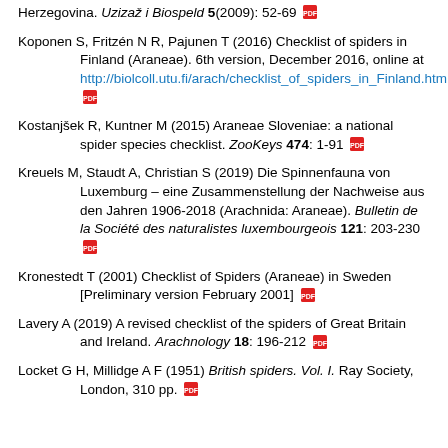… Herzegovina. Uzizaž i Biospeld 5(2009): 52-69
Koponen S, Fritzén N R, Pajunen T (2016) Checklist of spiders in Finland (Araneae). 6th version, December 2016, online at http://biolcoll.utu.fi/arach/checklist_of_spiders_in_Finland.htm
Kostanjšek R, Kuntner M (2015) Araneae Sloveniae: a national spider species checklist. ZooKeys 474: 1-91
Kreuels M, Staudt A, Christian S (2019) Die Spinnenfauna von Luxemburg – eine Zusammenstellung der Nachweise aus den Jahren 1906-2018 (Arachnida: Araneae). Bulletin de la Société des naturalistes luxembourgeois 121: 203-230
Kronestedt T (2001) Checklist of Spiders (Araneae) in Sweden [Preliminary version February 2001]
Lavery A (2019) A revised checklist of the spiders of Great Britain and Ireland. Arachnology 18: 196-212
Locket G H, Millidge A F (1951) British spiders. Vol. I. Ray Society, London, 310 pp.